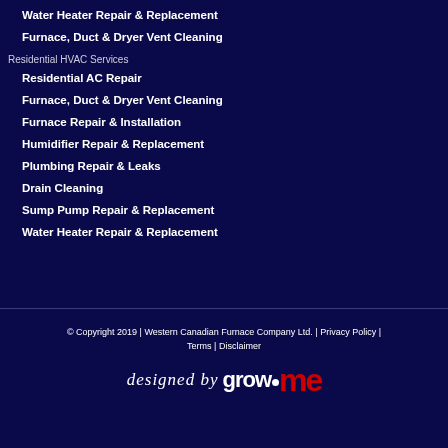Water Heater Repair & Replacement
Furnace, Duct & Dryer Vent Cleaning
Residential HVAC Services
Residential AC Repair
Furnace, Duct & Dryer Vent Cleaning
Furnace Repair & Installation
Humidifier Repair & Replacement
Plumbing Repair & Leaks
Drain Cleaning
Sump Pump Repair & Replacement
Water Heater Repair & Replacement
© Copyright 2019 | Western Canadian Furnace Company Ltd. | Privacy Policy | Terms | Disclaimer
[Figure (logo): designed by growME logo in white and red]